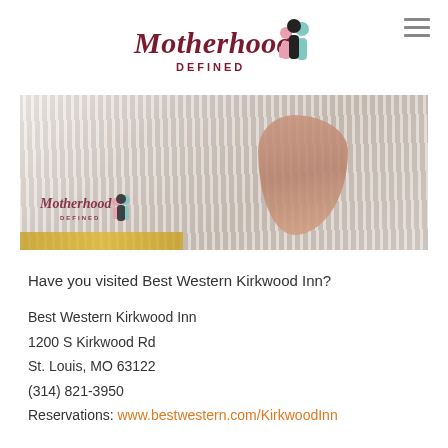[Figure (logo): Motherhood Defined logo — stylized script text 'Motherhood' in dark red/maroon with 'DEFINED' in small caps below, accompanied by illustrated silhouettes of two women (one in pink, one in teal/blue) on the right side]
[Figure (photo): Close-up photo of a person's arm pressing down on white ribbed/striped pillow or bed linens. The Motherhood Defined logo watermark appears in the lower left corner of the photo. A strip of yellow/gold fabric is visible at the bottom left.]
Have you visited Best Western Kirkwood Inn?
Best Western Kirkwood Inn
1200 S Kirkwood Rd
St. Louis, MO 63122
(314) 821-3950
Reservations: www.bestwestern.com/KirkwoodInn